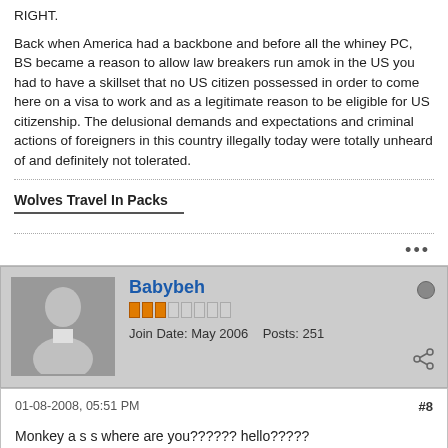RIGHT.
Back when America had a backbone and before all the whiney PC, BS became a reason to allow law breakers run amok in the US you had to have a skillset that no US citizen possessed in order to come here on a visa to work and as a legitimate reason to be eligible for US citizenship. The delusional demands and expectations and criminal actions of foreigners in this country illegally today were totally unheard of and definitely not tolerated.
Wolves Travel In Packs
Babybeh
Join Date: May 2006   Posts: 251
01-08-2008, 05:51 PM
#8
Monkey a s s where are you?????? hello?????
I have your big banana all for you!!!!!!
Come and get it